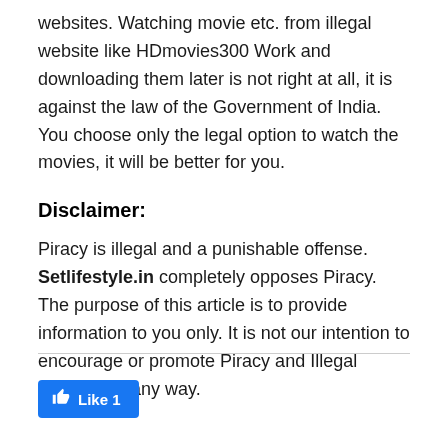websites. Watching movie etc. from illegal website like HDmovies300 Work and downloading them later is not right at all, it is against the law of the Government of India. You choose only the legal option to watch the movies, it will be better for you.
Disclaimer:
Piracy is illegal and a punishable offense. Setlifestyle.in completely opposes Piracy. The purpose of this article is to provide information to you only. It is not our intention to encourage or promote Piracy and Illegal activities in any way.
[Figure (other): Facebook Like button showing 'Like 1' count with thumbs up icon on blue background]